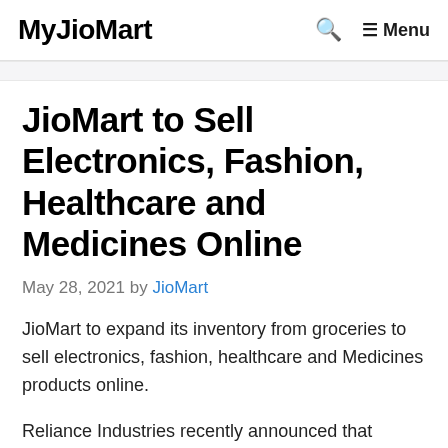MyJioMart  🔍  ≡ Menu
JioMart to Sell Electronics, Fashion, Healthcare and Medicines Online
May 28, 2021 by JioMart
JioMart to expand its inventory from groceries to sell electronics, fashion, healthcare and Medicines products online.
Reliance Industries recently announced that JioMart is expanding its inventory from